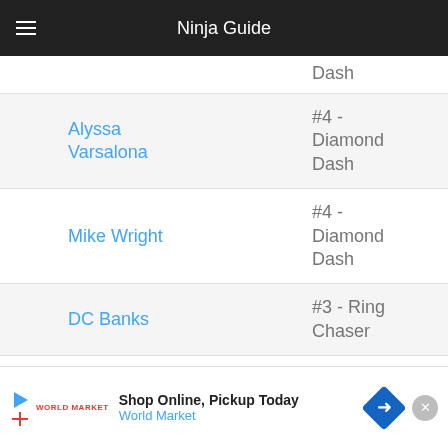Ninja Guide
| Name | Obstacle |
| --- | --- |
|  | Dash |
| Alyssa Varsalona | #4 - Diamond Dash |
| Mike Wright | #4 - Diamond Dash |
| DC Banks | #3 - Ring Chaser |
| Nico Gentry | #3 - Ring Chaser |
| Sophia Lavallee | #3 - Ring Chaser |
[Figure (screenshot): Advertisement banner: Shop Online, Pickup Today - World Market]